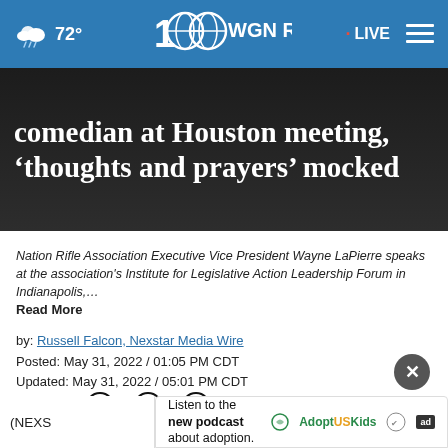72° | WGN Radio 100 | LIVE
comedian at Houston meeting, 'thoughts and prayers' mocked
Nation Rifle Association Executive Vice President Wayne LaPierre speaks at the association's Institute for Legislative Action Leadership Forum in Indianapolis,… Read More
by: Russell Falcon, Nexstar Media Wire
Posted: May 31, 2022 / 01:05 PM CDT
Updated: May 31, 2022 / 05:01 PM CDT
SHARE
(NEXS… tion
associate chief Wayne LaPierre received praise from
Listen to the new podcast about adoption.